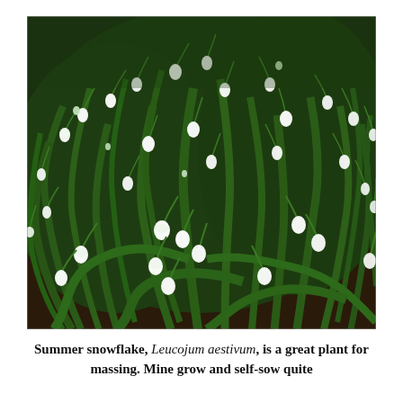[Figure (photo): Photograph of Summer snowflake (Leucojum aestivum) plants with white bell-shaped flowers hanging from arching green stems, planted in a garden bed with dark soil. Dense cluster of long narrow green leaves with numerous small white drooping flowers.]
Summer snowflake, Leucojum aestivum, is a great plant for massing.  Mine grow and self-sow quite